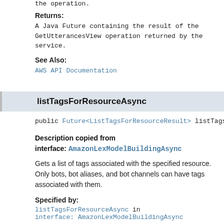the operation.
Returns:
A Java Future containing the result of the GetUtterancesView operation returned by the service.
See Also:
AWS API Documentation
listTagsForResourceAsync
public Future<ListTagsForResourceResult> listTags
Description copied from interface: AmazonLexModelBuildingAsync
Gets a list of tags associated with the specified resource. Only bots, bot aliases, and bot channels can have tags associated with them.
Specified by:
listTagsForResourceAsync in interface: AmazonLexModelBuildingAsync